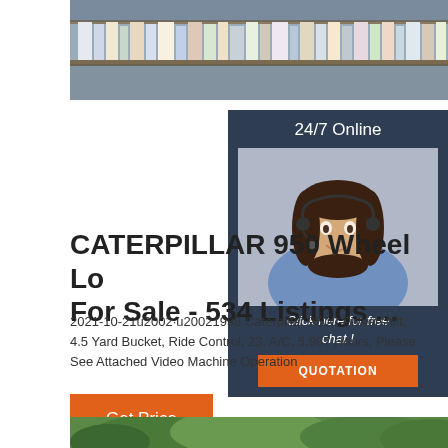[Figure (photo): Warehouse shelves filled with books and binders, top banner photo]
[Figure (infographic): 24/7 Online chat widget with photo of woman with headset. Includes 'Click here for free chat!' text and orange QUOTATION button]
CATERPILLAR 950 Wheel Lo For Sale - 534 Listings ...
2021-10-21u2002·u20021998 Caterpillar 950C Powershift, 4.5 Yard Bucket, Ride Control, 23. A/C, 5,987 Hours, Please See Attached Video Machine Operation
[Figure (photo): Outdoor photo showing trees and greenery, possibly showing machinery in a wooded area]
Get Price